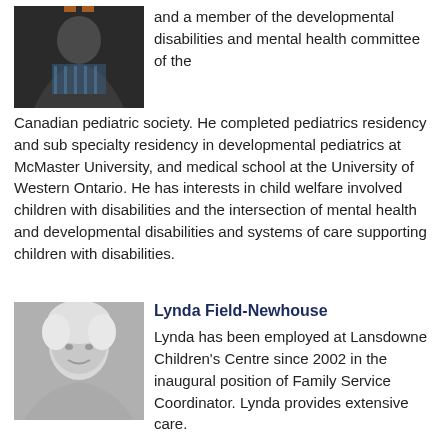[Figure (photo): Portrait photo of a person wearing a dark jacket and blue plaid shirt, shown from shoulders up against a dark background.]
and a member of the developmental disabilities and mental health committee of the Canadian pediatric society. He completed pediatrics residency and sub specialty residency in developmental pediatrics at McMaster University, and medical school at the University of Western Ontario. He has interests in child welfare involved children with disabilities and the intersection of mental health and developmental disabilities and systems of care supporting children with disabilities.
[Figure (photo): Black and white portrait photo of Lynda Field-Newhouse, a woman with light hair, smiling.]
Lynda Field-Newhouse
Lynda has been employed at Lansdowne Children's Centre since 2002 in the inaugural position of Family Service Coordinator. Lynda provides extensive care.